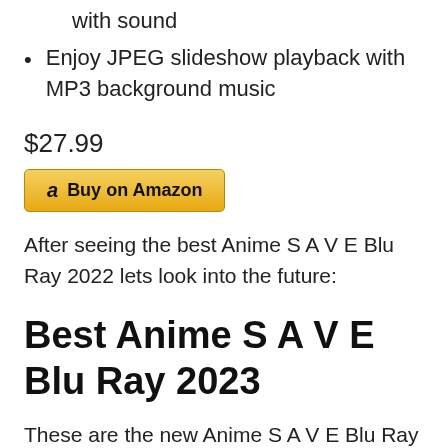with sound
Enjoy JPEG slideshow playback with MP3 background music
$27.99
[Figure (other): Buy on Amazon button with Amazon logo]
After seeing the best Anime S A V E Blu Ray 2022 lets look into the future:
Best Anime S A V E Blu Ray 2023
These are the new Anime S A V E Blu Ray releases available. Will the best